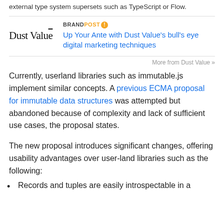external type system supersets such as TypeScript or Flow.
[Figure (other): DustValue brand logo with BRANDPOST label and ad title: Up Your Ante with Dust Value's bull's eye digital marketing techniques]
More from Dust Value »
Currently, userland libraries such as immutable.js implement similar concepts. A previous ECMA proposal for immutable data structures was attempted but abandoned because of complexity and lack of sufficient use cases, the proposal states.
The new proposal introduces significant changes, offering usability advantages over user-land libraries such as the following:
Records and tuples are easily introspectable in a